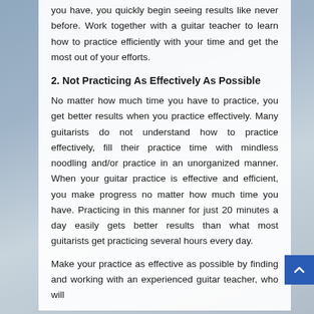you have, you quickly begin seeing results like never before. Work together with a guitar teacher to learn how to practice efficiently with your time and get the most out of your efforts.
2. Not Practicing As Effectively As Possible
No matter how much time you have to practice, you get better results when you practice effectively. Many guitarists do not understand how to practice effectively, fill their practice time with mindless noodling and/or practice in an unorganized manner. When your guitar practice is effective and efficient, you make progress no matter how much time you have. Practicing in this manner for just 20 minutes a day easily gets better results than what most guitarists get practicing several hours every day.
Make your practice as effective as possible by finding and working with an experienced guitar teacher, who will